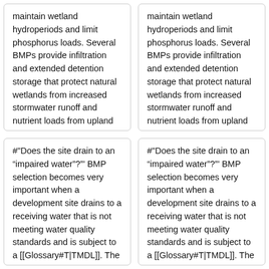maintain wetland hydroperiods and limit phosphorus loads. Several BMPs provide infiltration and extended detention storage that protect natural wetlands from increased stormwater runoff and nutrient loads from upland development.
maintain wetland hydroperiods and limit phosphorus loads. Several BMPs provide infiltration and extended detention storage that protect natural wetlands from increased stormwater runoff and nutrient loads from upland development.
#"Does the site drain to an “impaired water”?"' BMP selection becomes very important when a development site drains to a receiving water that is not meeting water quality standards and is subject to a [[Glossary#T|TMDL]]. The designer may need to choose BMPs that achieve a more stringent level of removal for the
#"Does the site drain to an “impaired water”?"' BMP selection becomes very important when a development site drains to a receiving water that is not meeting water quality standards and is subject to a [[Glossary#T|TMDL]]. The designer may need to choose BMPs that achieve a more stringent level of removal for the